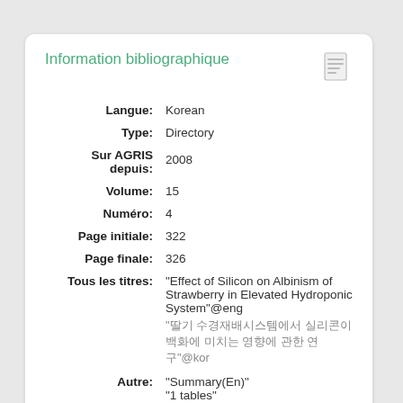Information bibliographique
| Label | Value |
| --- | --- |
| Langue: | Korean |
| Type: | Directory |
| Sur AGRIS depuis: | 2008 |
| Volume: | 15 |
| Numéro: | 4 |
| Page initiale: | 322 |
| Page finale: | 326 |
| Tous les titres: | "Effect of Silicon on Albinism of Strawberry in Elevated Hydroponic System"@eng
"딸기 수경재배시스템에서 실리콘이 백화에 미치는 영향에 관한 연구"@kor |
| Autre: | "Summary(En)"
"1 tables"
"4ill., 12 ref." |